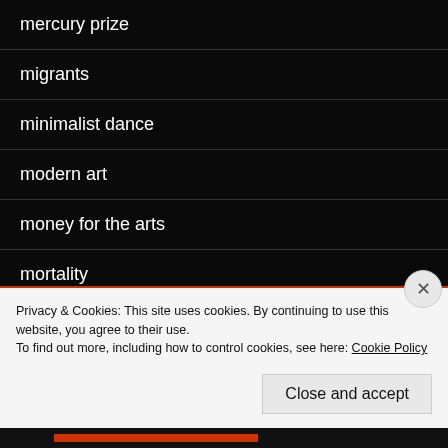mercury prize
migrants
minimalist dance
modern art
money for the arts
mortality
my aims & objectives
mystery of life
New Tate
Privacy & Cookies: This site uses cookies. By continuing to use this website, you agree to their use. To find out more, including how to control cookies, see here: Cookie Policy
Close and accept